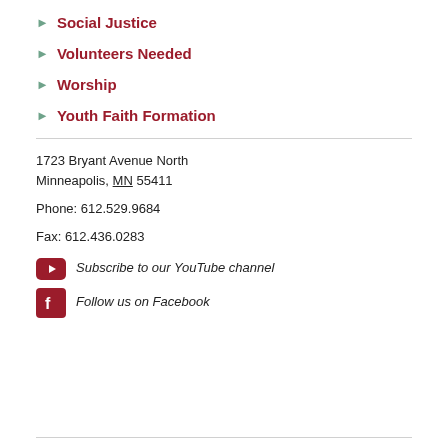Social Justice
Volunteers Needed
Worship
Youth Faith Formation
1723 Bryant Avenue North
Minneapolis, MN 55411
Phone: 612.529.9684
Fax: 612.436.0283
Subscribe to our YouTube channel
Follow us on Facebook